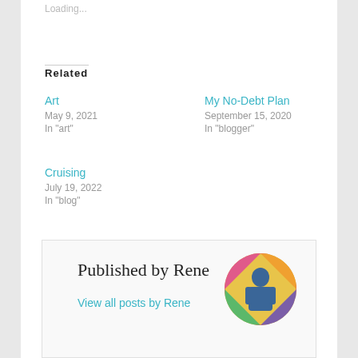Loading...
Related
Art
May 9, 2021
In "art"
My No-Debt Plan
September 15, 2020
In "blogger"
Cruising
July 19, 2022
In "blog"
Published by Rene
View all posts by Rene